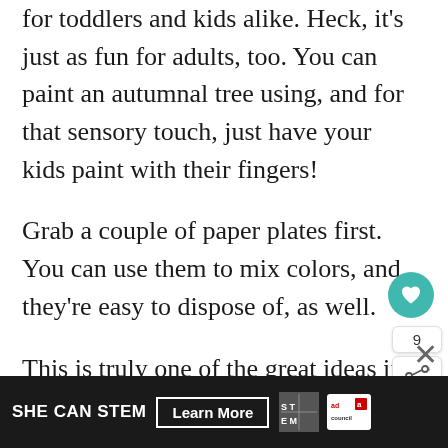for toddlers and kids alike. Heck, it's just as fun for adults, too. You can paint an autumnal tree using, and for that sensory touch, just have your kids paint with their fingers!
Grab a couple of paper plates first. You can use them to mix colors, and they're easy to dispose of, as well.
This is truly one of the great ideas if yo kids enjoy sensory play. Also, check out m
[Figure (other): Dark advertisement banner at bottom: SHE CAN STEM with Learn More button, STEM logo and Ad Council logo. Heart/save button (teal circle with heart icon), share count 9, and share icon button on right side.]